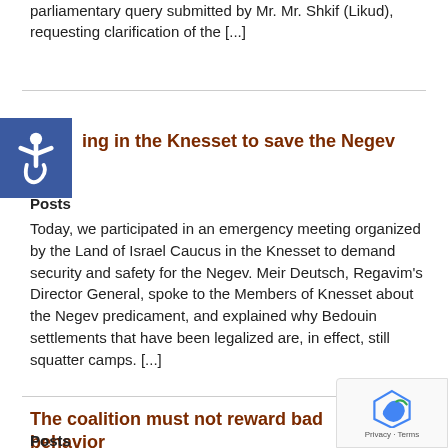parliamentary query submitted by Mr. Mr. Shkif (Likud), requesting clarification of the [...]
ing in the Knesset to save the Negev
Posts
Today, we participated in an emergency meeting organized by the Land of Israel Caucus in the Knesset to demand security and safety for the Negev. Meir Deutsch, Regavim's Director General, spoke to the Members of Knesset about the Negev predicament, and explained why Bedouin settlements that have been legalized are, in effect, still squatter camps. [...]
The coalition must not reward bad behavior
Posts
The coalition depends on the votes of the Ra'am party about to pass a law that effectively rewards illegal